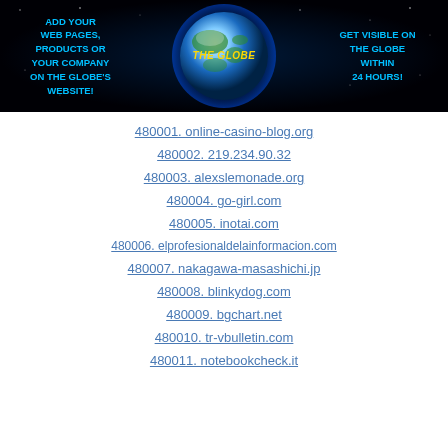[Figure (illustration): Banner advertisement with dark/space background showing a globe in center, text on left 'ADD YOUR WEB PAGES, PRODUCTS OR YOUR COMPANY ON THE GLOBE'S WEBSITE!' in cyan, center logo 'THE GLOBE' in yellow, right text 'GET VISIBLE ON THE GLOBE WITHIN 24 HOURS!' in cyan]
480001. online-casino-blog.org
480002. 219.234.90.32
480003. alexslemonade.org
480004. go-girl.com
480005. inotai.com
480006. elprofesionaldelainformacion.com
480007. nakagawa-masashichi.jp
480008. blinkydog.com
480009. bgchart.net
480010. tr-vbulletin.com
480011. notebookcheck.it